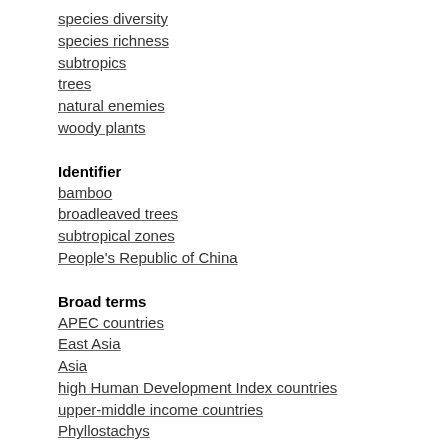species diversity
species richness
subtropics
trees
natural enemies
woody plants
Identifier
bamboo
broadleaved trees
subtropical zones
People's Republic of China
Broad terms
APEC countries
East Asia
Asia
high Human Development Index countries
upper-middle income countries
Phyllostachys
Poaceae
Poales
commelinids
monocotyledons
angiosperms